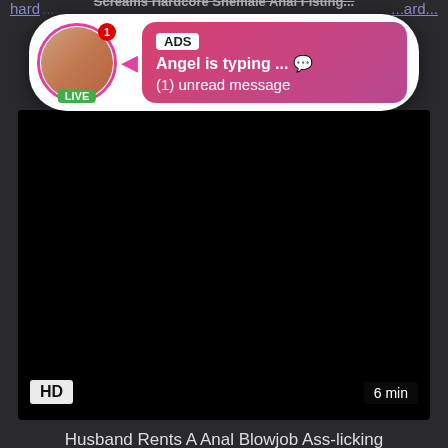hard... | ...ard...
[Figure (screenshot): Ad popup notification with avatar showing LIVE badge, ADS label, 'Angel is typing ... 💬' and '(1) unread message' on pink/red gradient bubble. Popup overlaid on dark video page.]
[Figure (screenshot): Dark/black video thumbnail area labeled HD with 6 min duration badge]
Husband Rents A Anal Blowjob Ass-licking
anal, blowjob, ass licking, shemale, ass fucking, tgirl, ch...
[Figure (screenshot): Second dark video thumbnail at bottom of page]